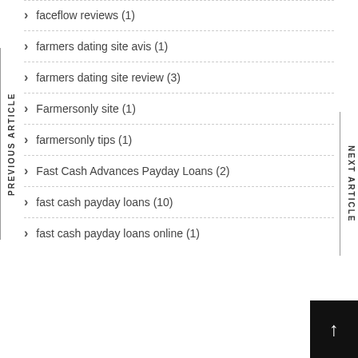faceflow reviews (1)
farmers dating site avis (1)
farmers dating site review (3)
Farmersonly site (1)
farmersonly tips (1)
Fast Cash Advances Payday Loans (2)
fast cash payday loans (10)
fast cash payday loans online (1)